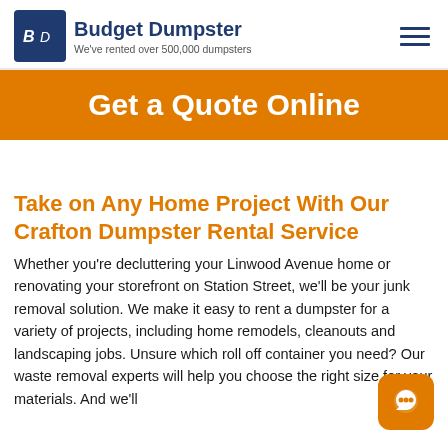Budget Dumpster — We've rented over 500,000 dumpsters
Get a Quote Online
Take on Any Home Project With Our Crafton Dumpster Rental Service
Whether you're decluttering your Linwood Avenue home or renovating your storefront on Station Street, we'll be your junk removal solution. We make it easy to rent a dumpster for a variety of projects, including home remodels, cleanouts and landscaping jobs. Unsure which roll off container you need? Our waste removal experts will help you choose the right size for your materials. And we'll